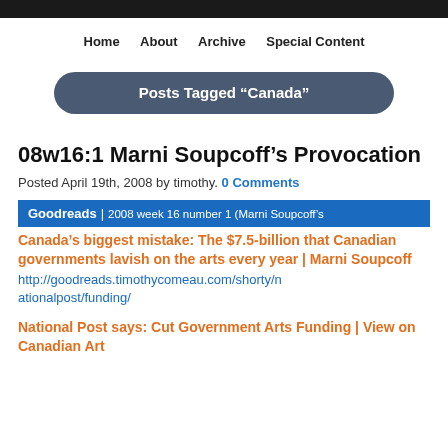Home  About  Archive  Special Content
Posts Tagged “Canada”
08w16:1 Marni Soupcoff’s Provocation
Posted April 19th, 2008 by timothy. 0 Comments
Goodreads | 2008 week 16 number 1 (Marni Soupcoff’s
Canada’s biggest mistake: The $7.5-billion that Canadian governments lavish on the arts every year | Marni Soupcoff http://goodreads.timothycomeau.com/shorty/nationalpost/funding/
National Post says: Cut Government Arts Funding | View on Canadian Art